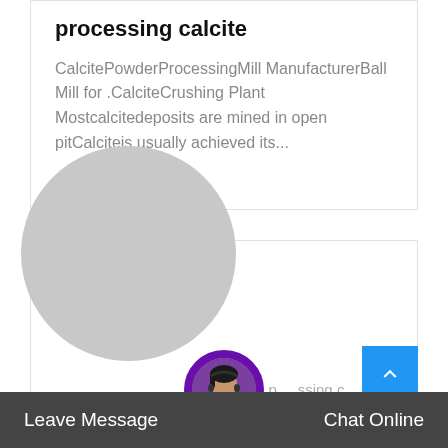processing calcite
CalcitePowderProcessingMill ManufacturerBall Mill for .CalciteCrushing Plant Mostcalcitedeposits are mined in open pitCalciteis usually achieved its...
Read More →
[Figure (photo): Large gray circle placeholder image, partially cut off at left and top, overlapping a card border]
line processing calcite
Leave Message
Chat Online